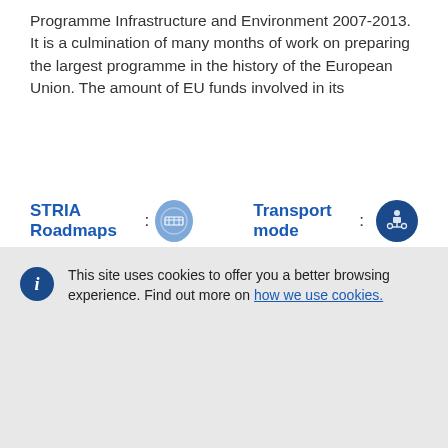Programme Infrastructure and Environment 2007-2013. It is a culmination of many months of work on preparing the largest programme in the history of the European Union. The amount of EU funds involved in its
STRIA Roadmaps : [icon] Transport mode : [icon]
This site uses cookies to offer you a better browsing experience. Find out more on how we use cookies.
Accept all cookies
Accept only essential cookies